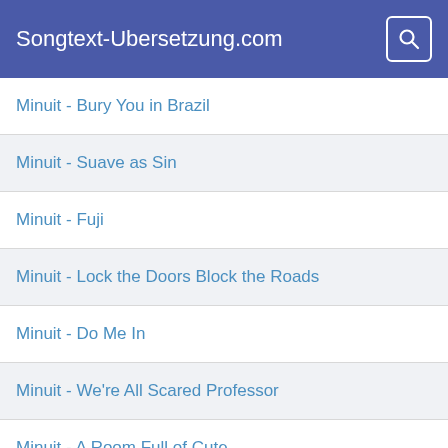Songtext-Ubersetzung.com
Minuit - Bury You in Brazil
Minuit - Suave as Sin
Minuit - Fuji
Minuit - Lock the Doors Block the Roads
Minuit - Do Me In
Minuit - We're All Scared Professor
Minuit - A Room Full of Cute
Minuit - The Sum of Us
Minuit - The Boy With the Aubergine Hair
Minuit - Djordj
Minuit - a.m. e.m.